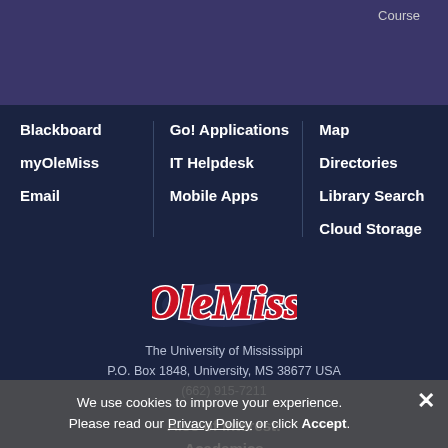Course
Blackboard
myOleMiss
Email
Go! Applications
IT Helpdesk
Mobile Apps
Map
Directories
Library Search
Cloud Storage
[Figure (logo): Ole Miss script logo in red with white outline]
The University of Mississippi
P.O. Box 1848, University, MS 38677 USA
(662) 915-7211
Also of Interest:
Academics
We use cookies to improve your experience. Please read our Privacy Policy or click Accept.